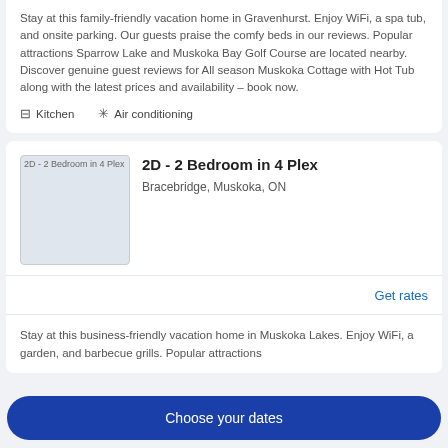Stay at this family-friendly vacation home in Gravenhurst. Enjoy WiFi, a spa tub, and onsite parking. Our guests praise the comfy beds in our reviews. Popular attractions Sparrow Lake and Muskoka Bay Golf Course are located nearby. Discover genuine guest reviews for All season Muskoka Cottage with Hot Tub along with the latest prices and availability – book now.
Kitchen
Air conditioning
[Figure (photo): Placeholder image for 2D - 2 Bedroom in 4 Plex listing]
2D - 2 Bedroom in 4 Plex
Bracebridge, Muskoka, ON
Get rates
Stay at this business-friendly vacation home in Muskoka Lakes. Enjoy WiFi, a garden, and barbecue grills. Popular attractions
Choose your dates